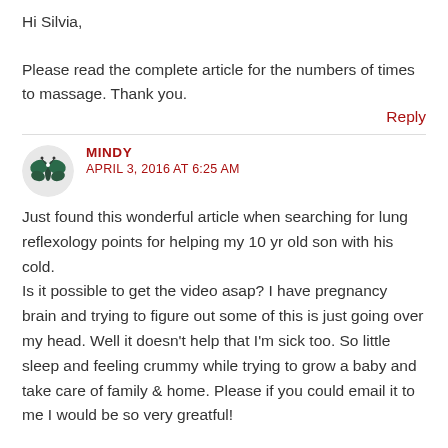Hi Silvia,

Please read the complete article for the numbers of times to massage. Thank you.
Reply
MINDY
APRIL 3, 2016 AT 6:25 AM
Just found this wonderful article when searching for lung reflexology points for helping my 10 yr old son with his cold.
Is it possible to get the video asap? I have pregnancy brain and trying to figure out some of this is just going over my head. Well it doesn't help that I'm sick too. So little sleep and feeling crummy while trying to grow a baby and take care of family & home. Please if you could email it to me I would be so very greatful!